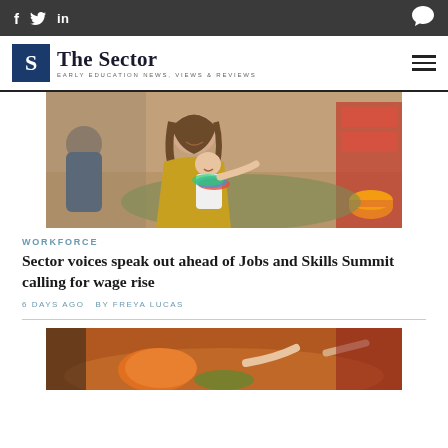f  twitter  in  [chat icon]
[Figure (logo): The Sector logo - S icon with text 'The Sector' and tagline 'EARLY EDUCATION NEWS, VIEWS & REVIEWS', hamburger menu icon on right]
[Figure (photo): Early childhood educator in yellow cardigan holding a toddler in a classroom setting. Child reaching toward colorful toys. Another person visible in background.]
WORKFORCE
Sector voices speak out ahead of Jobs and Skills Summit calling for wage rise
6 DAYS AGO  BY FREYA LUCAS
[Figure (photo): Early childhood setting showing children and educator around a table with food items, partially visible at bottom of page.]